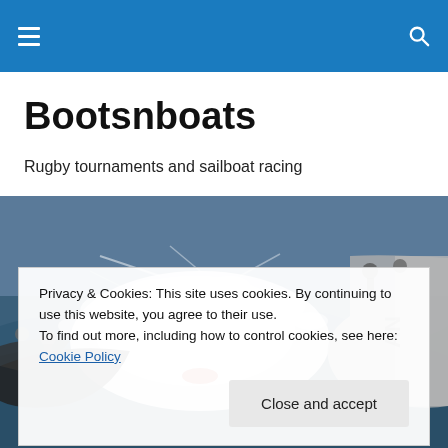Bootsnboats navigation bar
Bootsnboats
Rugby tournaments and sailboat racing
[Figure (photo): Sailboat racing action shot with large waves and spray, two boats side by side cutting through rough seas]
Privacy & Cookies: This site uses cookies. By continuing to use this website, you agree to their use.
To find out more, including how to control cookies, see here: Cookie Policy
Close and accept